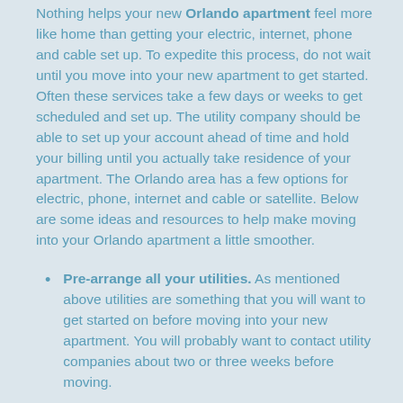Nothing helps your new Orlando apartment feel more like home than getting your electric, internet, phone and cable set up. To expedite this process, do not wait until you move into your new apartment to get started. Often these services take a few days or weeks to get scheduled and set up. The utility company should be able to set up your account ahead of time and hold your billing until you actually take residence of your apartment. The Orlando area has a few options for electric, phone, internet and cable or satellite. Below are some ideas and resources to help make moving into your Orlando apartment a little smoother.
Pre-arrange all your utilities. As mentioned above utilities are something that you will want to get started on before moving into your new apartment. You will probably want to contact utility companies about two or three weeks before moving.
Check it out. Check with your new apartment staff to see what the building is wired for (phone, cable, and new apartment buildings may have Cat5